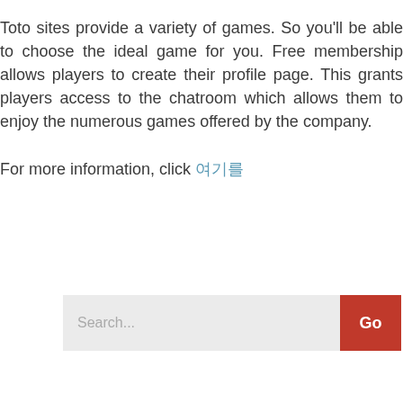Toto sites provide a variety of games. So you'll be able to choose the ideal game for you. Free membership allows players to create their profile page. This grants players access to the chatroom which allows them to enjoy the numerous games offered by the company.
For more information, click 여기를